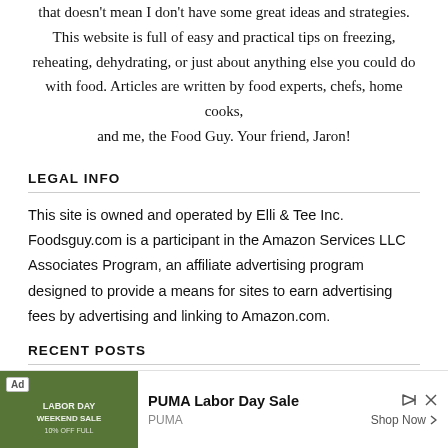that doesn't mean I don't have some great ideas and strategies. This website is full of easy and practical tips on freezing, reheating, dehydrating, or just about anything else you could do with food. Articles are written by food experts, chefs, home cooks, and me, the Food Guy. Your friend, Jaron!
LEGAL INFO
This site is owned and operated by Elli & Tee Inc. Foodsguy.com is a participant in the Amazon Services LLC Associates Program, an affiliate advertising program designed to provide a means for sites to earn advertising fees by advertising and linking to Amazon.com.
RECENT POSTS
[Figure (other): Advertisement banner: PUMA Labor Day Sale ad with image of PUMA sale promotion, Ad badge, play/skip icons, brand name PUMA, and Shop Now button]